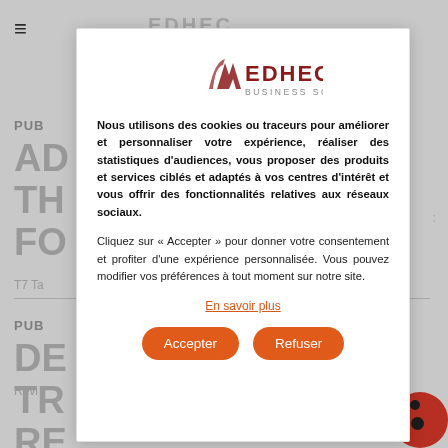[Figure (logo): EDHEC Business School logo with stylized arrow/chevron mark in dark red and grey text]
Nous utilisons des cookies ou traceurs pour améliorer et personnaliser votre expérience, réaliser des statistiques d'audiences, vous proposer des produits et services ciblés et adaptés à vos centres d'intérêt et vous offrir des fonctionnalités relatives aux réseaux sociaux.
Cliquez sur « Accepter » pour donner votre consentement et profiter d'une expérience personnalisée. Vous pouvez modifier vos préférences à tout moment sur notre site.
En savoir plus
Accepter
Refuser